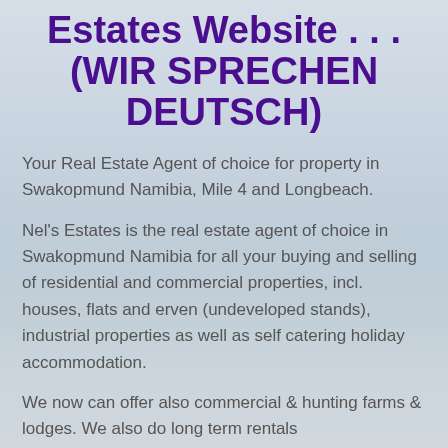Estates Website . . . (WIR SPRECHEN DEUTSCH)
Your Real Estate Agent of choice for property in Swakopmund Namibia, Mile 4 and Longbeach.
Nel's Estates is the real estate agent of choice in Swakopmund Namibia for all your buying and selling of residential and commercial properties, incl. houses, flats and erven (undeveloped stands), industrial properties as well as self catering holiday accommodation.
We now can offer also commercial & hunting farms & lodges. We also do long term rentals